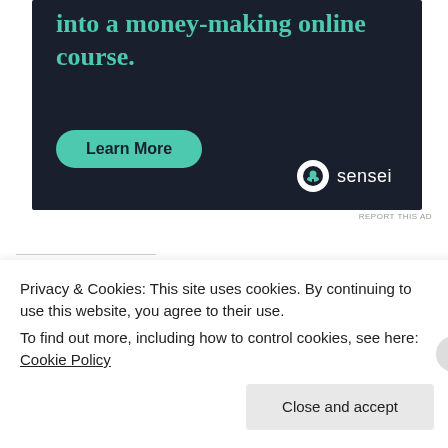[Figure (illustration): Dark navy advertisement banner for Sensei online course platform. Teal text reads 'into a money-making online course.' with a teal 'Learn More' button and Sensei logo bottom right.]
REPORT THIS AD
Share this:
Twitter   Facebook
Privacy & Cookies: This site uses cookies. By continuing to use this website, you agree to their use.
To find out more, including how to control cookies, see here: Cookie Policy
Close and accept